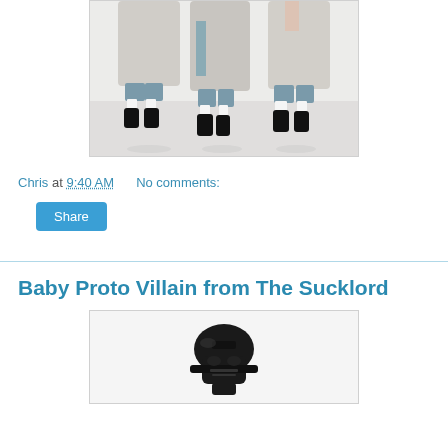[Figure (photo): Bottom portion of three toy figures with tan/beige robes and black boots, white socks visible, on white background]
Chris at 9:40 AM    No comments:
Share
Baby Proto Villain from The Sucklord
[Figure (photo): Small dark Darth Vader-style helmet toy figure, black in color, on white background]